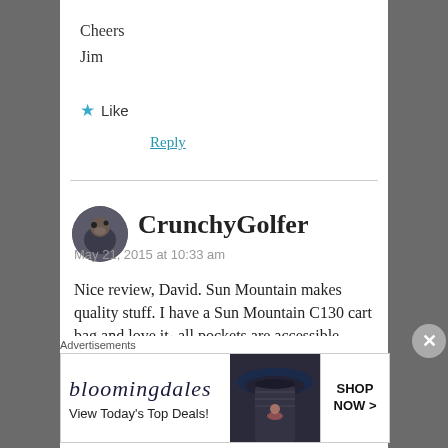Cheers
Jim
Like
Reply
CrunchyGolfer
May 21, 2015 at 10:33 am
Nice review, David. Sun Mountain makes quality stuff. I have a Sun Mountain C130 cart bag and love it- all pockets are accessible when strapped in and an extra 15th slot for my alignment sticks.
[Figure (other): Bloomingdales advertisement banner with woman in hat, 'View Today's Top Deals!' and 'SHOP NOW >' button]